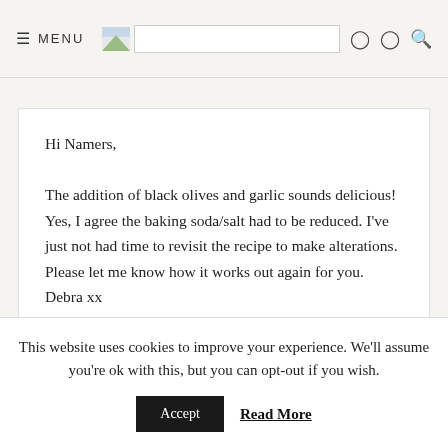≡ MENU
Hi Namers,
The addition of black olives and garlic sounds delicious! Yes, I agree the baking soda/salt had to be reduced. I've just not had time to revisit the recipe to make alterations. Please let me know how it works out again for you. Debra xx
REPLY
This website uses cookies to improve your experience. We'll assume you're ok with this, but you can opt-out if you wish.
Accept
Read More